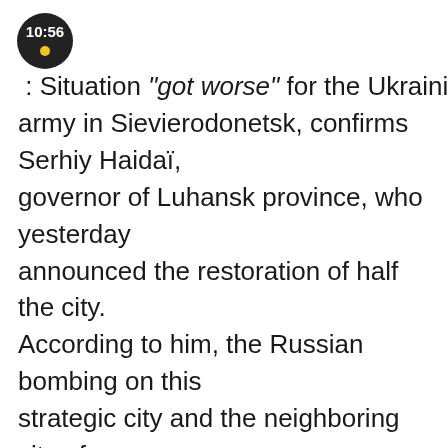10:56 : Situation “got worse” for the Ukrainian army in Sievierodonetsk, confirms Serhiy Haidaï, governor of Luhansk province, who yesterday announced the restoration of half the city. According to him, the Russian bombing on this strategic city and the neighboring city of Lyssytchansk intensified.
10:37 : Russian Foreign Minister Sergei Lavrov was due to visit Serbia today, but sanctions against Russia make travel more difficult. All European countries neighboring Serbia have closed their airspace for the plane of the Russian diplomacy, said its spokeswoman Maria Zacharovova. The Russian agency Interfax announces the cancellation of the trip, referring to